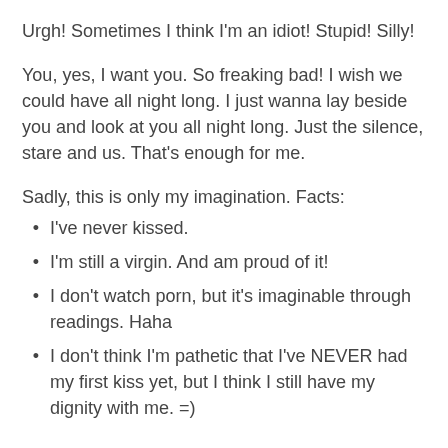Urgh! Sometimes I think I'm an idiot! Stupid! Silly!
You, yes, I want you. So freaking bad! I wish we could have all night long. I just wanna lay beside you and look at you all night long. Just the silence, stare and us. That's enough for me.
Sadly, this is only my imagination. Facts:
I've never kissed.
I'm still a virgin. And am proud of it!
I don't watch porn, but it's imaginable through readings. Haha
I don't think I'm pathetic that I've NEVER had my first kiss yet, but I think I still have my dignity with me. =)